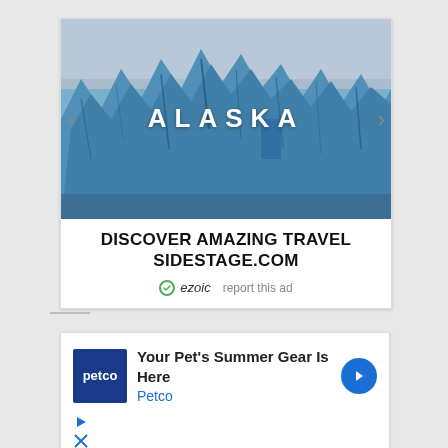[Figure (photo): Advertisement card showing glacier/ice formation photo with text ALASKA overlaid, navigation arrows, headline DISCOVER AMAZING TRAVEL SIDESTAGE.COM, and ezoic logo with report this ad link]
[Figure (photo): Petco advertisement card showing Petco logo, text Your Pet's Summer Gear Is Here, Petco name in blue, blue arrow button, and small play/close icons below]